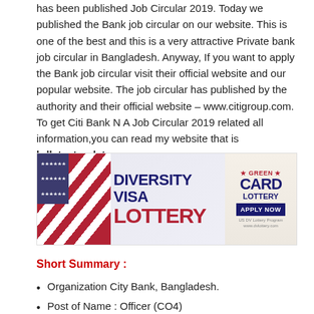has been published Job Circular 2019. Today we published the Bank job circular on our website. This is one of the best and this is a very attractive Private bank job circular in Bangladesh. Anyway, If you want to apply the Bank job circular visit their official website and our popular website. The job circular has published by the authority and their official website – www.citigroup.com. To get Citi Bank N A Job Circular 2019 related all information,you can read my website that is bdlatestupdate.com.
[Figure (infographic): Diversity Visa Lottery / Green Card Lottery Apply Now advertisement banner with US flag imagery and a person]
Short Summary :
Organization City Bank, Bangladesh.
Post of Name : Officer (CO4)